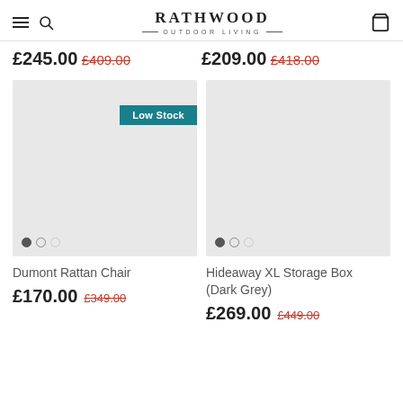RATHWOOD — OUTDOOR LIVING
£245.00  £409.00    £209.00  £418.00
[Figure (photo): Product image placeholder for Dumont Rattan Chair with Low Stock badge and carousel dots]
[Figure (photo): Product image placeholder for Hideaway XL Storage Box (Dark Grey) with carousel dots]
Dumont Rattan Chair
£170.00  £349.00
Hideaway XL Storage Box (Dark Grey)
£269.00  £449.00